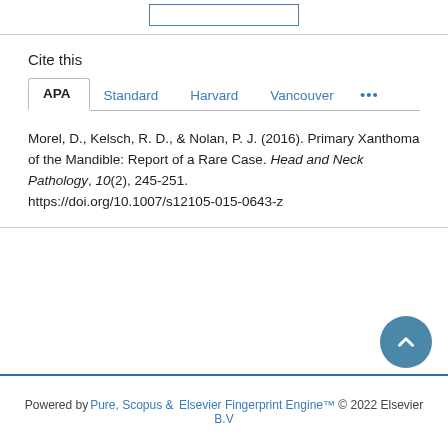Cite this
Morel, D., Kelsch, R. D., & Nolan, P. J. (2016). Primary Xanthoma of the Mandible: Report of a Rare Case. Head and Neck Pathology, 10(2), 245-251. https://doi.org/10.1007/s12105-015-0643-z
Powered by Pure, Scopus & Elsevier Fingerprint Engine™ © 2022 Elsevier B.V